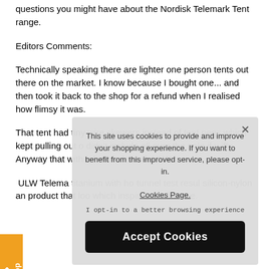questions you might have about the Nordisk Telemark Tent range.
Editors Comments:
Technically speaking there are lighter one person tents out there on the market. I know because I bought one... and then took it back to the shop for a refund when I realised how flimsy it was.
That tent had tiny wire skewers instead of tent pegs which kept pulling out of... didn't include all... over the pole if y... iffy. Anyway that... with a heavie... lemark ULW h...
... ULW Telema... titanium with ho... tunnel test resul... silicon-nylon an... product that loo... which inspires confidence.
[Figure (other): Cookie consent overlay dialog with text 'This site uses cookies to provide and improve your shopping experience. If you want to benefit from this improved service, please opt-in. Cookies Page.' and a link 'I opt-in to a better browsing experience' and an 'Accept Cookies' button.]
[Figure (other): Orange side tab with up arrow and 'Top' label]